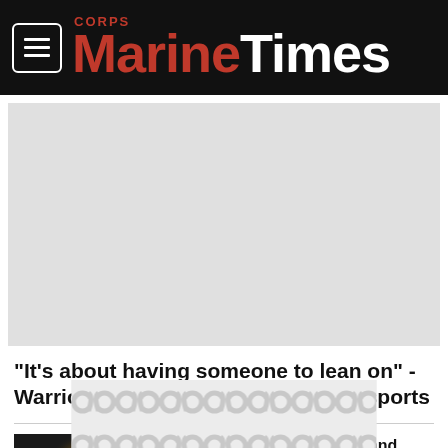Marine Corps Times
[Figure (other): Large video/image placeholder area (light gray background)]
"It's about having someone to lean on" - Warrior Games athlete on adaptive sports
[Figure (photo): Thumbnail image of a person with bright backlighting, appears to be a military/training scene for a Defense News Weekly episode]
Ukrainians train in the U.K. and battle balloons | Defense News Weekly full episode 8.20.22
[Figure (other): Advertisement banner with a gray scrolling pattern design]